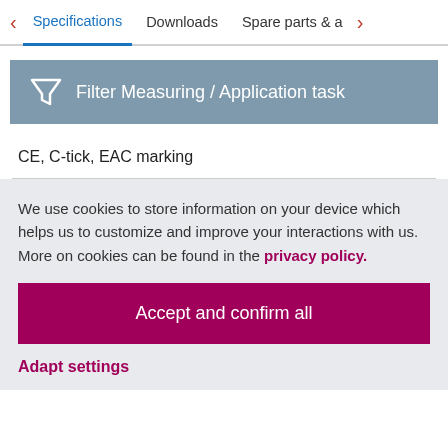< Specifications   Downloads   Spare parts & a >
Filter Measuring / Application task
CE, C-tick, EAC marking
We use cookies to store information on your device which helps us to customize and improve your interactions with us. More on cookies can be found in the privacy policy.
Accept and confirm all
Adapt settings